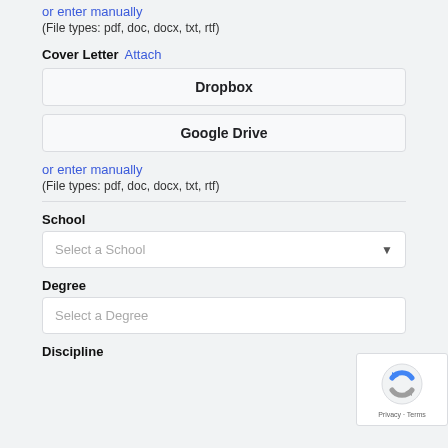or enter manually
(File types: pdf, doc, docx, txt, rtf)
Cover Letter  Attach
Dropbox
Google Drive
or enter manually
(File types: pdf, doc, docx, txt, rtf)
School
Select a School
Degree
Select a Degree
Discipline